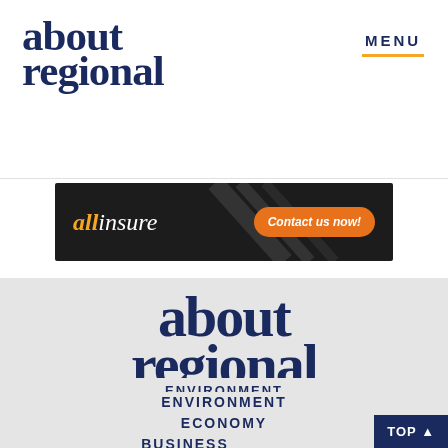[Figure (logo): About Regional logo in top-left header, dark navy serif font]
MENU
[Figure (photo): allinsure advertisement banner with orange 'Contact us now!' button on dark background with diagonal lines]
[Figure (logo): Large About Regional logo centered on gray background]
ENVIRONMENT
ECONOMY
BUSINESS
HEALTH & WELLBEING
BEST OF REGION
ARTS & CULTURE